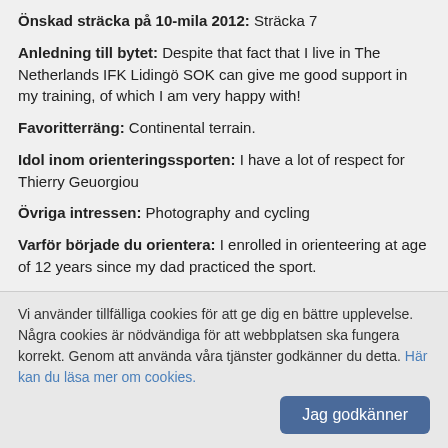Önskad sträcka på 10-mila 2012: Sträcka 7
Anledning till bytet: Despite that fact that I live in The Netherlands IFK Lidingö SOK can give me good support in my training, of which I am very happy with!
Favoritterräng: Continental terrain.
Idol inom orienteringssporten: I have a lot of respect for Thierry Geuorgiou
Övriga intressen: Photography and cycling
Varför började du orientera: I enrolled in orienteering at age of 12 years since my dad practiced the sport.
Övriga meriter utöver orienteringen: I work full-time as a visual designer for an International design and innovation company
Vi använder tillfälliga cookies för att ge dig en bättre upplevelse. Några cookies är nödvändiga för att webbplatsen ska fungera korrekt. Genom att använda våra tjänster godkänner du detta. Här kan du läsa mer om cookies.
Jag godkänner